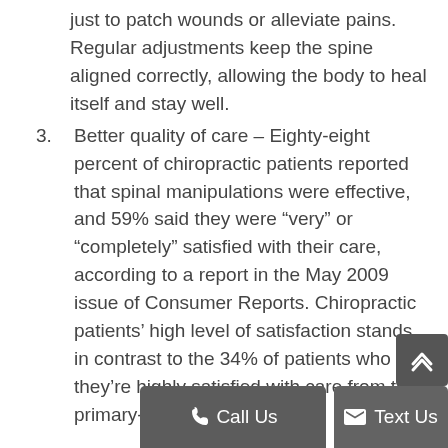just to patch wounds or alleviate pains. Regular adjustments keep the spine aligned correctly, allowing the body to heal itself and stay well.
3. Better quality of care – Eighty-eight percent of chiropractic patients reported that spinal manipulations were effective, and 59% said they were "very" or "completely" satisfied with their care, according to a report in the May 2009 issue of Consumer Reports. Chiropractic patients' high level of satisfaction stands in contrast to the 34% of patients who say they're highly satisfied with care from their primary-care doctor.
While chiropractic care can't turn back the clock, it can help your body remain able to do the things you love.
References